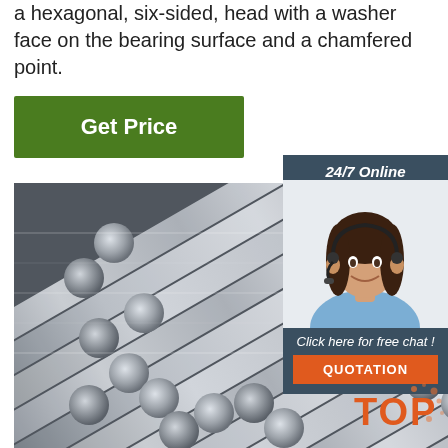a hexagonal, six-sided, head with a washer face on the bearing surface and a chamfered point.
[Figure (other): Green 'Get Price' button]
[Figure (other): 24/7 Online support sidebar with woman wearing headset, 'Click here for free chat!' text, and orange QUOTATION button]
[Figure (photo): Photo of stainless steel round bars/rods stacked together, viewed from the end showing circular cross-sections and lengths]
TOP